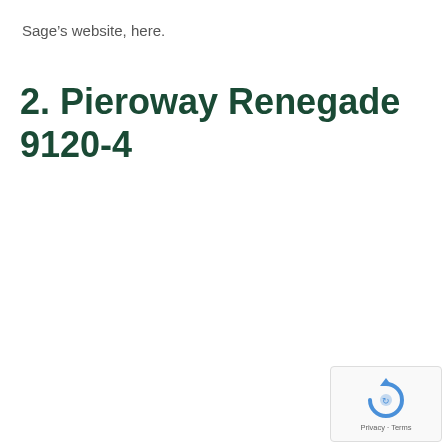Sage's website, here.
2. Pieroway Renegade 9120-4
[Figure (logo): Google reCAPTCHA widget with Privacy and Terms links in bottom right corner]